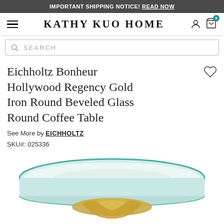IMPORTANT SHIPPING NOTICE! READ NOW
KATHY KUO HOME
SEARCH
Eichholtz Bonheur Hollywood Regency Gold Iron Round Beveled Glass Round Coffee Table
See More by EICHHOLTZ
SKU#: 025336
[Figure (photo): Product photo showing the top of a round glass coffee table with beveled glass top and gold iron base visible at the bottom of the image]